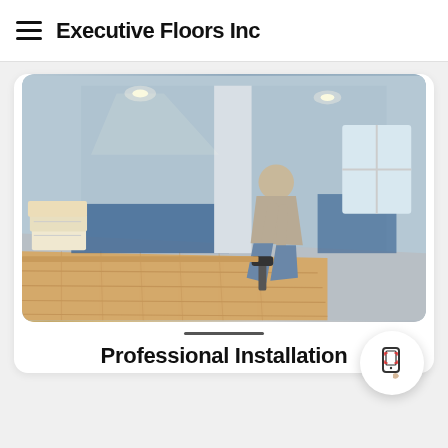Executive Floors Inc
[Figure (photo): A flooring installer kneeling on the floor, laying hardwood planks in a room with blue and gray walls, recessed lighting, and boxes of flooring materials stacked to the left.]
Professional Installation